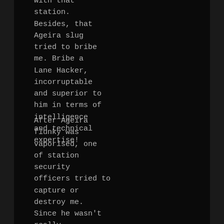with that station. Besides, that Ageira slug tried to bribe me. Bribe a Lane Hacker, incorruptable and superior to him in terms of intelligence and technical expertise!
After Ageira flunky was vaporised, one of station security officers tried to capture or destroy me. Since he wasn't really succesful, I